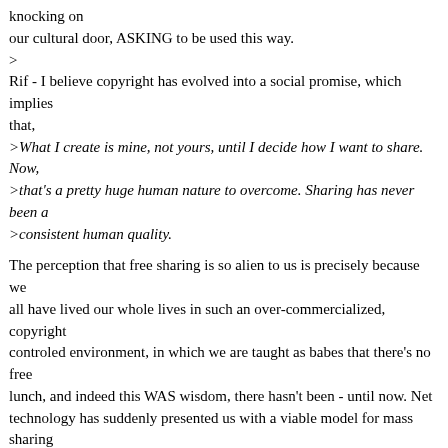knocking on
our cultural door, ASKING to be used this way.
>
Rif - I believe copyright has evolved into a social promise, which implies
that,
>What I create is mine, not yours, until I decide how I want to share. Now,
>that's a pretty huge human nature to overcome. Sharing has never been a
>consistent human quality.

The perception that free sharing is so alien to us is precisely because we
all have lived our whole lives in such an over-commercialized, copyright
controled environment, in which we are taught as babes that there's no free
lunch, and indeed this WAS wisdom, there hasn't been - until now. Net
technology has suddenly presented us with a viable model for mass sharing
by individuals which was never before practical or even possible, and
missing the popularity of this recent revelation is impossible,
regardless